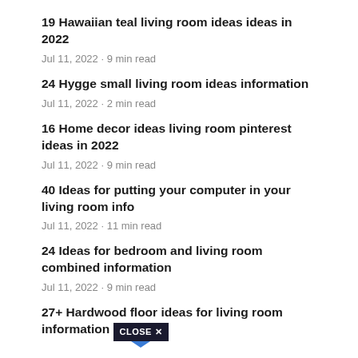19 Hawaiian teal living room ideas ideas in 2022
Jul 11, 2022 · 9 min read
24 Hygge small living room ideas information
Jul 11, 2022 · 2 min read
16 Home decor ideas living room pinterest ideas in 2022
Jul 11, 2022 · 9 min read
40 Ideas for putting your computer in your living room info
Jul 11, 2022 · 11 min read
24 Ideas for bedroom and living room combined information
Jul 11, 2022 · 9 min read
27+ Hardwood floor ideas for living room information